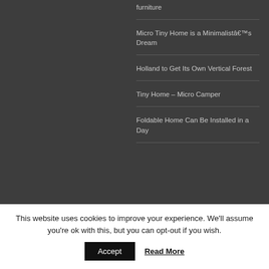furniture
Micro Tiny Home is a Minimalistâ€™s Dream
Holland to Get Its Own Vertical Forest
Tiny Home – Micro Camper
Foldable Home Can Be Installed in a Day
This website uses cookies to improve your experience. We'll assume you're ok with this, but you can opt-out if you wish.
Accept
Read More